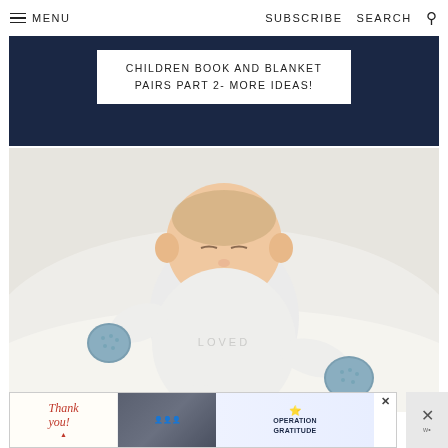MENU  SUBSCRIBE  SEARCH
CHILDREN BOOK AND BLANKET PAIRS PART 2- MORE IDEAS!
[Figure (photo): A sleeping newborn baby wearing a white onesie that says LOVED, with blue crocheted mittens on both hands, lying on a white blanket.]
[Figure (photo): Advertisement banner for Operation Gratitude with a 'Thank you!' handwritten text, soldiers photo, and Operation Gratitude logo.]